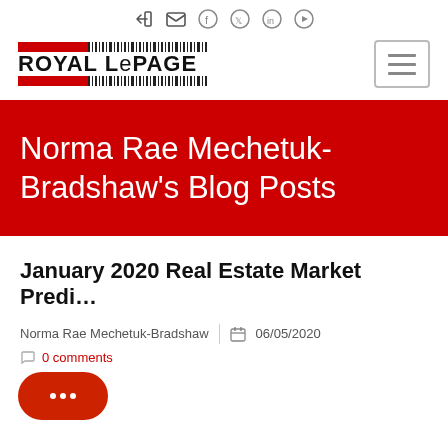Royal LePage navigation header with social icons and logo
Norma Rae Mechetuk-Bradshaw's Blog Posts
January 2020 Real Estate Market Predi...
Norma Rae Mechetuk-Bradshaw | 06/05/2020
0 comments